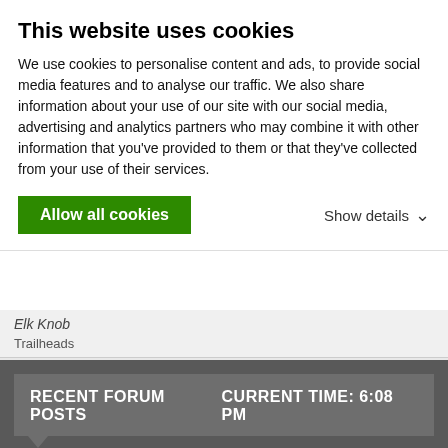This website uses cookies
We use cookies to personalise content and ads, to provide social media features and to analyse our traffic. We also share information about your use of our site with our social media, advertising and analytics partners who may combine it with other information that you've provided to them or that they've collected from your use of their services.
Allow all cookies
Show details
Elk Knob
Trailheads
Elk Knob summit trailhead
RECENT FORUM POSTS
CURRENT TIME: 6:08 PM
| Thread | Time |
| --- | --- |
| Partner for Mountaineering in | 7:40 |